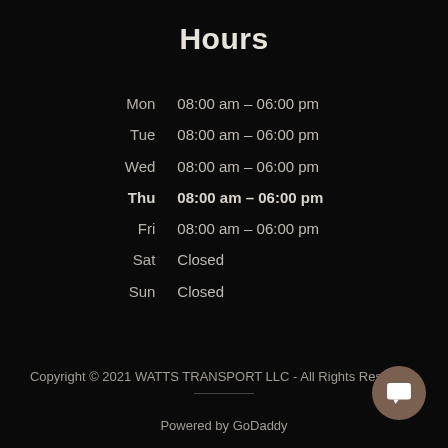Hours
| Mon | 08:00 am – 06:00 pm |
| Tue | 08:00 am – 06:00 pm |
| Wed | 08:00 am – 06:00 pm |
| Thu | 08:00 am – 06:00 pm |
| Fri | 08:00 am – 06:00 pm |
| Sat | Closed |
| Sun | Closed |
Copyright © 2021 WATTS TRANSPORT LLC - All Rights Reserved.
Powered by GoDaddy